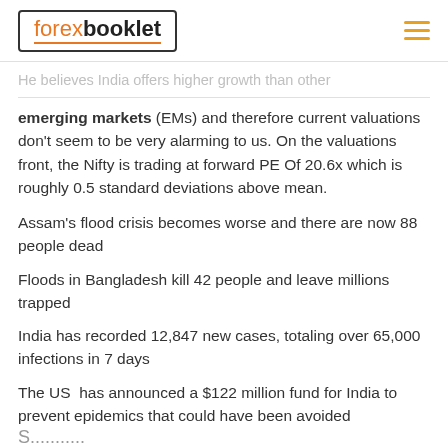capacity utilisations, improving demand visibility and comfortable balance sheets.
[Figure (logo): forexbooklet logo in a bordered box with orange underline, and hamburger menu icon on the right]
He believes India offers higher growth than other emerging markets (EMs) and therefore current valuations don’t seem to be very alarming to us. On the valuations front, the Nifty is trading at forward PE Of 20.6x which is roughly 0.5 standard deviations above mean.
Assam’s flood crisis becomes worse and there are now 88 people dead
Floods in Bangladesh kill 42 people and leave millions trapped
India has recorded 12,847 new cases, totaling over 65,000 infections in 7 days
The US has announced a $122 million fund for India to prevent epidemics that could have been avoided